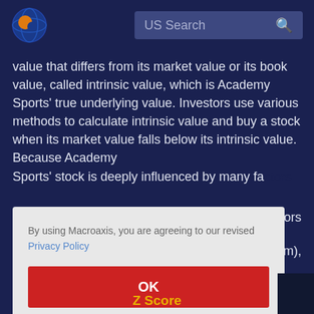[Figure (logo): Macroaxis circular logo with orange and blue globe design]
US Search
value that differs from its market value or its book value, called intrinsic value, which is Academy Sports' true underlying value. Investors use various methods to calculate intrinsic value and buy a stock when its market value falls below its intrinsic value. Because Academy Sports' stock is deeply influenced by many factors
By using Macroaxis, you are agreeing to our revised Privacy Policy
OK
Z Score